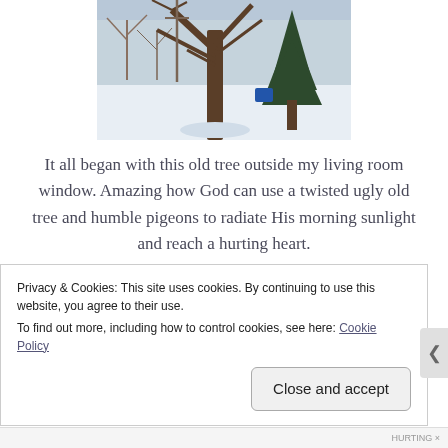[Figure (photo): A winter scene showing an old bare tree with snow on the ground and an evergreen tree to the right, taken from a living room window perspective.]
It all began with this old tree outside my living room window. Amazing how God can use a twisted ugly old tree and humble pigeons to radiate His morning sunlight and reach a hurting heart.
It's times like this that I wish I were a really good photographer and understand the concept of catching
Privacy & Cookies: This site uses cookies. By continuing to use this website, you agree to their use.
To find out more, including how to control cookies, see here: Cookie Policy
Close and accept